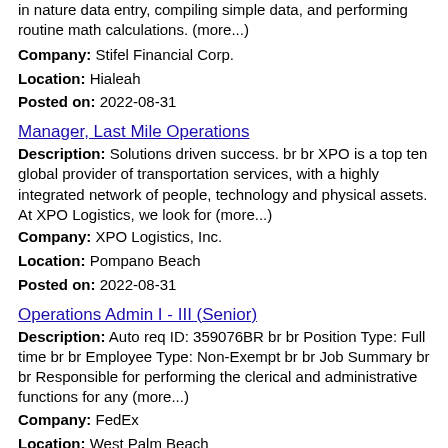in nature data entry, compiling simple data, and performing routine math calculations. (more...)
Company: Stifel Financial Corp.
Location: Hialeah
Posted on: 2022-08-31
Manager, Last Mile Operations
Description: Solutions driven success. br br XPO is a top ten global provider of transportation services, with a highly integrated network of people, technology and physical assets. At XPO Logistics, we look for (more...)
Company: XPO Logistics, Inc.
Location: Pompano Beach
Posted on: 2022-08-31
Operations Admin I - III (Senior)
Description: Auto req ID: 359076BR br br Position Type: Full time br br Employee Type: Non-Exempt br br Job Summary br br Responsible for performing the clerical and administrative functions for any (more...)
Company: FedEx
Location: West Palm Beach
Posted on: 2022-08-25
Nuclear Operations
Description: About Nuclear technicians, power plant operators and subsystems specialists are responsible for keeping vital Naval submarines and aircraft carriers running.